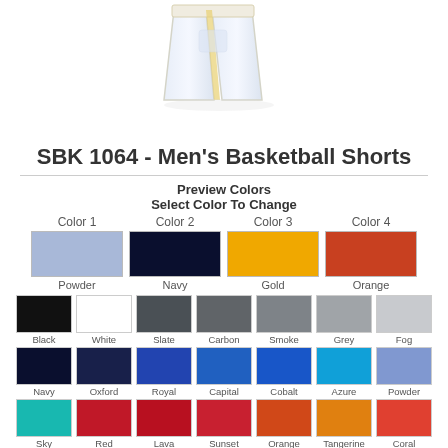[Figure (photo): Product image of Men's Basketball Shorts (SBK 1064) in light blue/white with gold trim, shown from the back/side angle]
SBK 1064 - Men's Basketball Shorts
Preview Colors
Select Color To Change
Color 1: Powder, Color 2: Navy, Color 3: Gold, Color 4: Orange
Color swatches: Black, White, Slate, Carbon, Smoke, Grey, Fog, Navy, Oxford, Royal, Capital, Cobalt, Azure, Powder, Sky, Red, Lava, Sunset, Orange, Tangerine, Coral